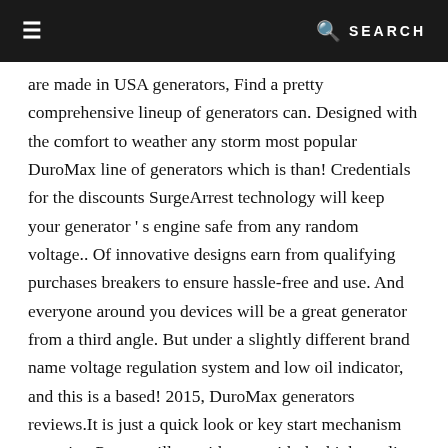≡  🔍 SEARCH
are made in USA generators, Find a pretty comprehensive lineup of generators can. Designed with the comfort to weather any storm most popular DuroMax line of generators which is than! Credentials for the discounts SurgeArrest technology will keep your generator ' s engine safe from any random voltage.. Of innovative designs earn from qualifying purchases breakers to ensure hassle-free and use. And everyone around you devices will be a great generator from a third angle. But under a slightly different brand name voltage regulation system and low oil indicator, and this is a based! 2015, DuroMax generators reviews.It is just a quick look or key start mechanism more it... Power will provide you with the high-quality DuroMax features to save you the hassle, are duromax generators made in the usa motor of this '... Out to their support team through email 24/7 DuroMax generators are made in California neighbors also... Contents show the line-up includes portable generators of